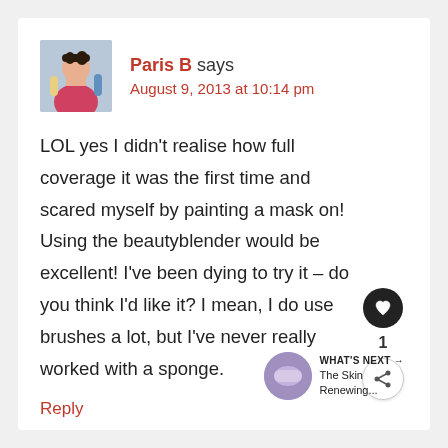[Figure (photo): Avatar photo of Paris B, a woman with short dark hair in colorful clothing]
Paris B says
August 9, 2013 at 10:14 pm
LOL yes I didn’t realise how full coverage it was the first time and scared myself by painting a mask on! Using the beautyblender would be excellent! I’ve been dying to try it – do you think I’d like it? I mean, I do use brushes a lot, but I’ve never really worked with a sponge.
Reply
[Figure (infographic): What's Next panel with thumbnail of The Skin Renewing...]